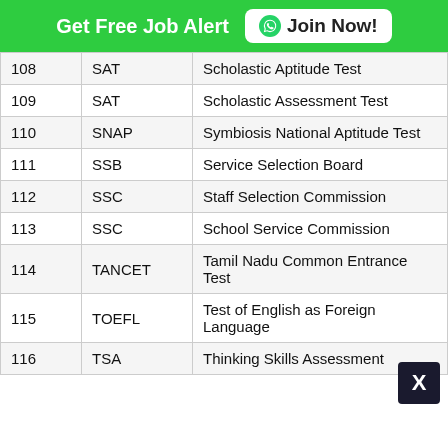Get Free Job Alert  Join Now!
| No. | Abbreviation | Full Form |
| --- | --- | --- |
| 108 | SAT | Scholastic Aptitude Test |
| 109 | SAT | Scholastic Assessment Test |
| 110 | SNAP | Symbiosis National Aptitude Test |
| 111 | SSB | Service Selection Board |
| 112 | SSC | Staff Selection Commission |
| 113 | SSC | School Service Commission |
| 114 | TANCET | Tamil Nadu Common Entrance Test |
| 115 | TOEFL | Test of English as Foreign Language |
| 116 | TSA | Thinking Skills Assessment |